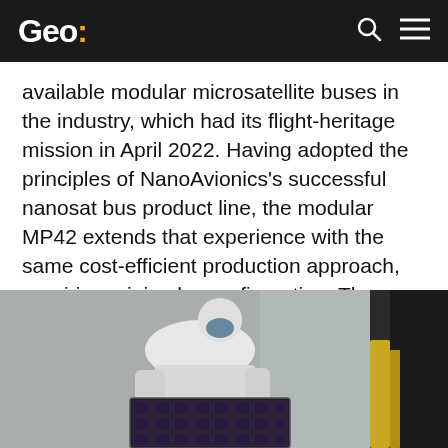Geo:
available modular microsatellite buses in the industry, which had its flight-heritage mission in April 2022. Having adopted the principles of NanoAvionics's successful nanosat bus product line, the modular MP42 extends that experience with the same cost-efficient production approach, requiring minimal reconfiguration. The MP42 buses are highly versatile with performance capabilities optimised for remote sensing, high data throughput, complex communications missions, emergency communications, and research missions.
[Figure (photo): A person in white cleanroom suit and blue face mask holds a small satellite component with solar panels in a cleanroom environment.]